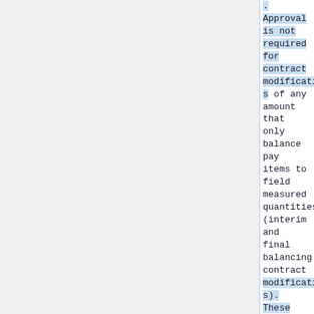. Approval is not required for contract modifications of any amount that only balance pay items to field measured quantities (interim and final balancing contract modifications). These balancing contract modifications must not